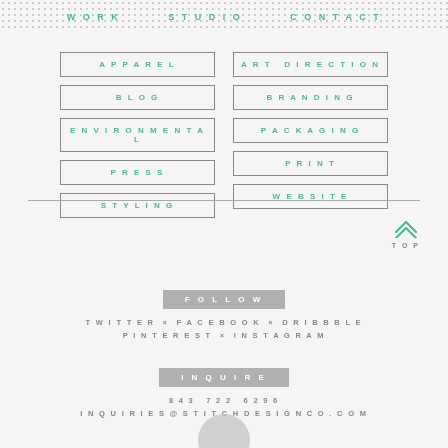WORK  STUDIO  CONTACT
APPAREL
ART DIRECTION
BLOG
BRANDING
ENVIRONMENTAL
PACKAGING
PRESS
PRINT
STYLING
WEBSITE
TOP
FOLLOW
TWITTER × FACEBOOK × DRIBBBLE
PINTEREST × INSTAGRAM
INQUIRE
843 722 6296
INQUIRIES@STITCHDESIGNCO.COM